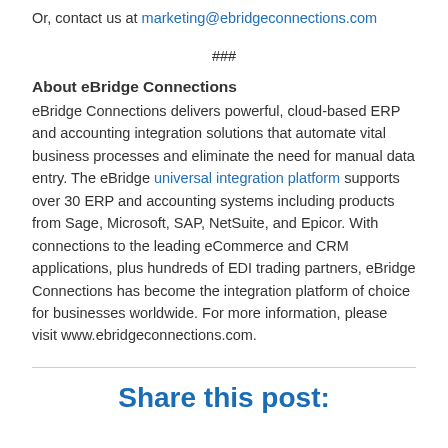Or, contact us at marketing@ebridgeconnections.com
###
About eBridge Connections
eBridge Connections delivers powerful, cloud-based ERP and accounting integration solutions that automate vital business processes and eliminate the need for manual data entry. The eBridge universal integration platform supports over 30 ERP and accounting systems including products from Sage, Microsoft, SAP, NetSuite, and Epicor. With connections to the leading eCommerce and CRM applications, plus hundreds of EDI trading partners, eBridge Connections has become the integration platform of choice for businesses worldwide. For more information, please visit www.ebridgeconnections.com.
Share this post: